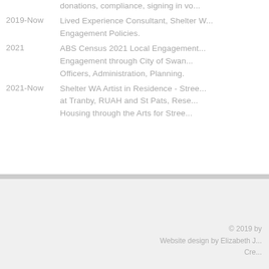donations, compliance, signing in vo...
2019-Now  Lived Experience Consultant, Shelter W... Engagement Policies.
2021  ABS Census 2021 Local Engagement... Engagement through City of Swan... Officers, Administration, Planning.
2021-Now  Shelter WA Artist in Residence - Stree... at Tranby, RUAH and St Pats, Rese... Housing through the Arts for Stree...
© 2019 by
Website design by Elizabeth J...
Cre...